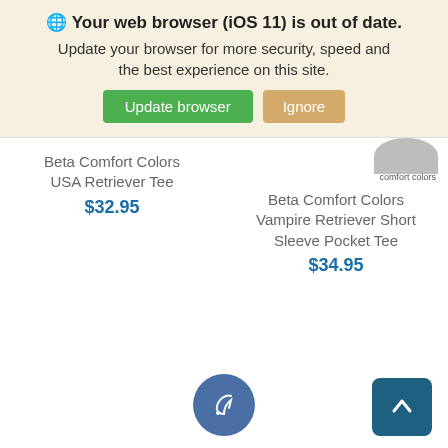🌐 Your web browser (iOS 11) is out of date. Update your browser for more security, speed and the best experience on this site.
[Figure (screenshot): Two buttons: green 'Update browser' and tan 'Ignore']
comfort colors
Beta Comfort Colors USA Retriever Tee
$32.95
Beta Comfort Colors Vampire Retriever Short Sleeve Pocket Tee
$34.95
[Figure (illustration): Circular blue feather/pen icon button at bottom center]
[Figure (illustration): Teal square scroll-to-top arrow button at bottom right]